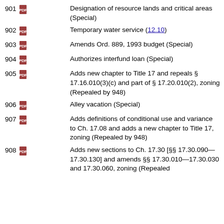901 Designation of resource lands and critical areas (Special)
902 Temporary water service (12.10)
903 Amends Ord. 889, 1993 budget (Special)
904 Authorizes interfund loan (Special)
905 Adds new chapter to Title 17 and repeals § 17.16.010(3)(c) and part of § 17.20.010(2), zoning (Repealed by 948)
906 Alley vacation (Special)
907 Adds definitions of conditional use and variance to Ch. 17.08 and adds a new chapter to Title 17, zoning (Repealed by 948)
908 Adds new sections to Ch. 17.30 [§§ 17.30.090—17.30.130] and amends §§ 17.30.010—17.30.030 and 17.30.060, zoning (Repealed by 948)